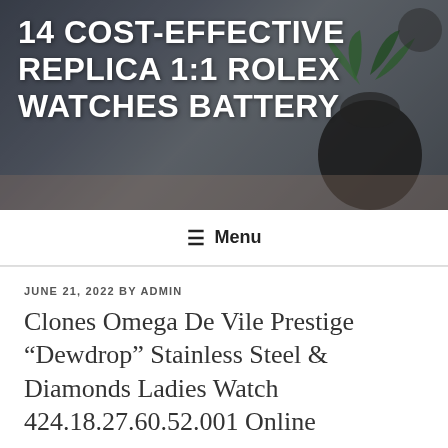[Figure (photo): Header background photo showing a tabletop scene with a dark rounded planter with succulent plants, blurred background, used as decorative header image for a blog]
14 COST-EFFECTIVE REPLICA 1:1 ROLEX WATCHES BATTERY
☰ Menu
JUNE 21, 2022 BY ADMIN
Clones Omega De Vile Prestige “Dewdrop” Stainless Steel & Diamonds Ladies Watch 424.18.27.60.52.001 Online
Clones Omega De Vile Prestige “Dewdrop” Stainless Steel &